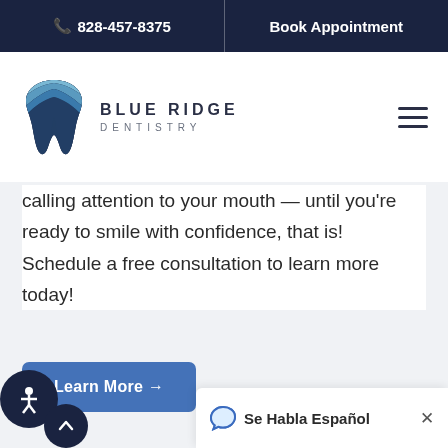📞 828-457-8375  |  Book Appointment
[Figure (logo): Blue Ridge Dentistry logo — tooth shape with blue mountain ridges inside, above the text BLUE RIDGE DENTISTRY]
calling attention to your mouth — until you're ready to smile with confidence, that is! Schedule a free consultation to learn more today!
Learn More →